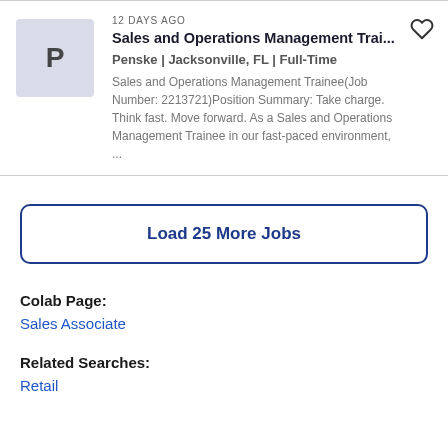12 DAYS AGO
Sales and Operations Management Trai...
Penske | Jacksonville, FL | Full-Time
Sales and Operations Management Trainee(Job Number: 2213721)Position Summary: Take charge. Think fast. Move forward. As a Sales and Operations Management Trainee in our fast-paced environment, ...
Load 25 More Jobs
Colab Page:
Sales Associate
Related Searches:
Retail